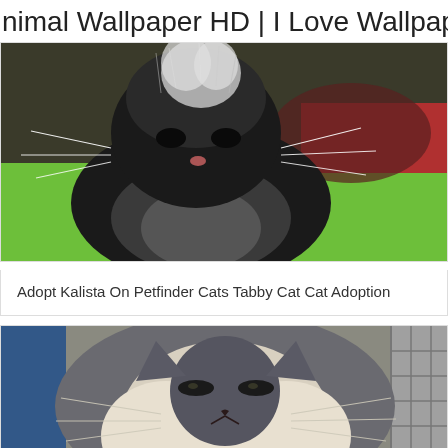nimal Wallpaper HD | I Love Wallpap
[Figure (photo): A fluffy dark cat (black and grey) with white whiskers and a fluffy chest, looking upward, against a green background with a red shelf visible in the upper right.]
Adopt Kalista On Petfinder Cats Tabby Cat Cat Adoption
[Figure (photo): A close-up of a grey and white cat with prominent white facial fur/beard, whiskers, and a dark nose, facing the camera. A blue cage door is visible on the left and a wire cage on the right.]